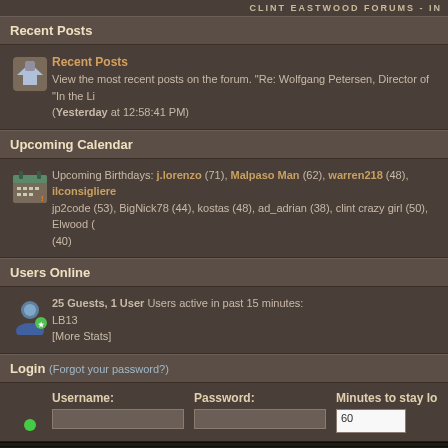CLINT EASTWOOD FORUMS - IN
Recent Posts
Recent Posts
View the most recent posts on the forum. "Re: Wolfgang Petersen, Director of "In the Li (Yesterday at 12:58:41 PM)
Upcoming Calendar
Upcoming Birthdays: j.lorenzo (71), Malpaso Man (62), warren218 (48), ilconsigliere jp2code (53), BigNick78 (44), kostas (48), ad_adrian (38), clint crazy girl (50), Elwood ( (40)
Users Online
25 Guests, 1 User Users active in past 15 minutes:
LB13
[More Stats]
Login (Forgot your password?)
Username: Password: Minutes to stay lo 60
CLINTEASTWOOD.N
Powered by SMF 2.0.18 | SMF © 2011, Si
XHTML  RSS  WAP2
Page created in 0.065 seconds with 2